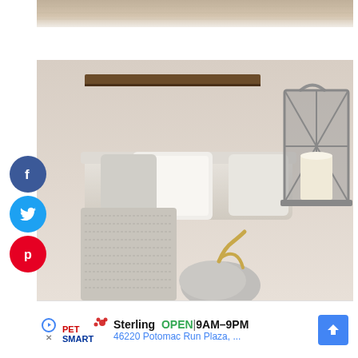[Figure (photo): Partial top of a photo showing a burlap/linen textured fabric surface, cropped at top of page]
[Figure (photo): Interior lifestyle photo of a cozy living room scene with white and grey pillows, a knit blanket, a grey metal lantern with a white candle, golden pumpkin stems, and a wooden shelf in the background. Social media share buttons (Facebook, Twitter, Pinterest) float on the left side.]
[Figure (infographic): Advertisement banner for PetSmart Sterling location. Shows PetSmart logo, text 'Sterling OPEN 9AM-9PM' and '46220 Potomac Run Plaza, ...' with a blue navigation arrow icon. Has play and close (X) controls.]